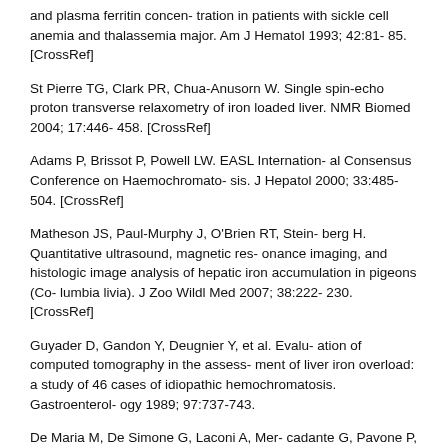and plasma ferritin concen- tration in patients with sickle cell anemia and thalassemia major. Am J Hematol 1993; 42:81- 85. [CrossRef]
St Pierre TG, Clark PR, Chua-Anusorn W. Single spin-echo proton transverse relaxometry of iron loaded liver. NMR Biomed 2004; 17:446- 458. [CrossRef]
Adams P, Brissot P, Powell LW. EASL Internation- al Consensus Conference on Haemochromato- sis. J Hepatol 2000; 33:485-504. [CrossRef]
Matheson JS, Paul-Murphy J, O'Brien RT, Stein- berg H. Quantitative ultrasound, magnetic res- onance imaging, and histologic image analysis of hepatic iron accumulation in pigeons (Co- lumbia livia). J Zoo Wildl Med 2007; 38:222- 230. [CrossRef]
Guyader D, Gandon Y, Deugnier Y, et al. Evalu- ation of computed tomography in the assess- ment of liver iron overload: a study of 46 cases of idiopathic hemochromatosis. Gastroenterol- ogy 1989; 97:737-743.
De Maria M, De Simone G, Laconi A, Mer- cadante G, Pavone P, Rossi P. Gold storage in the liver: appearance on CT scans. Radiology 1986; 159:355-356. [CrossRef]